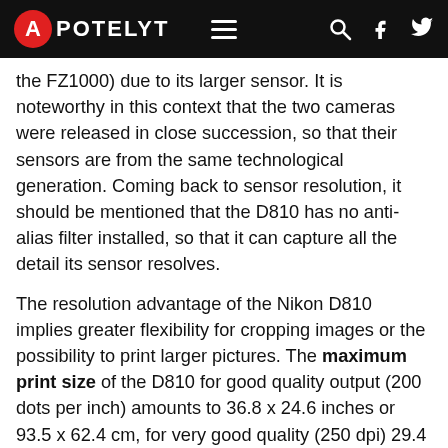APOTELYT
the FZ1000) due to its larger sensor. It is noteworthy in this context that the two cameras were released in close succession, so that their sensors are from the same technological generation. Coming back to sensor resolution, it should be mentioned that the D810 has no anti-alias filter installed, so that it can capture all the detail its sensor resolves.
The resolution advantage of the Nikon D810 implies greater flexibility for cropping images or the possibility to print larger pictures. The maximum print size of the D810 for good quality output (200 dots per inch) amounts to 36.8 x 24.6 inches or 93.5 x 62.4 cm, for very good quality (250 dpi) 29.4 x 19.6 inches or 74.8 x 49.9 cm, and for excellent quality (300 dpi) 24.5 x 16.4 inches or 62.3 x 41.6 cm. The corresponding values for the Panasonic FZ1000 are 27.4 x 18.2 inches or 69.5 x 46.3 cm for good quality, 21.9 x 14.6 inches or 55.6 x 37.1 cm for very good quality, and 18.2 x 12.2 inches or 46.3 x 30.9 cm for excellent quality prints.